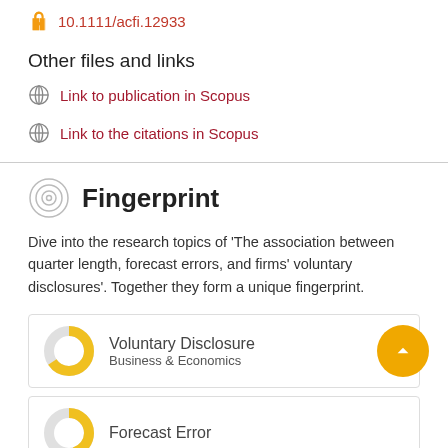10.1111/acfi.12933
Other files and links
Link to publication in Scopus
Link to the citations in Scopus
Fingerprint
Dive into the research topics of 'The association between quarter length, forecast errors, and firms' voluntary disclosures'. Together they form a unique fingerprint.
Voluntary Disclosure
Business & Economics
Forecast Error